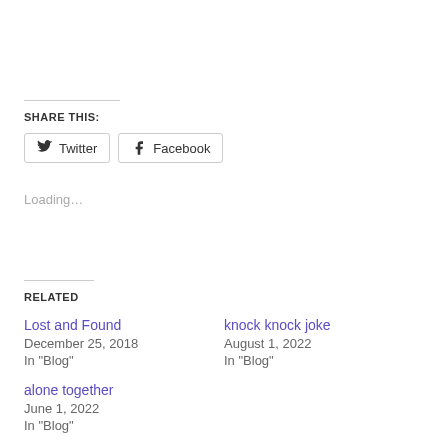SHARE THIS:
Twitter  Facebook
Loading…
RELATED
Lost and Found
December 25, 2018
In "Blog"
knock knock joke
August 1, 2022
In "Blog"
alone together
June 1, 2022
In "Blog"